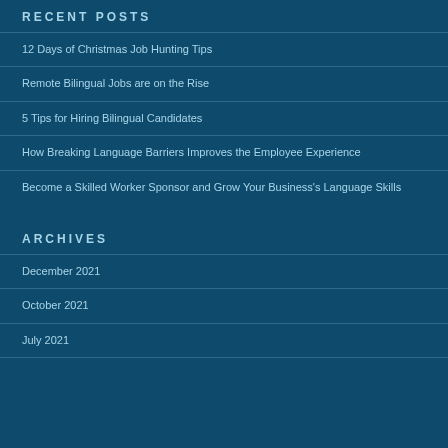RECENT POSTS
12 Days of Christmas Job Hunting Tips
Remote Bilingual Jobs are on the Rise
5 Tips for Hiring Bilingual Candidates
How Breaking Language Barriers Improves the Employee Experience
Become a Skilled Worker Sponsor and Grow Your Business's Language Skills
ARCHIVES
December 2021
October 2021
July 2021